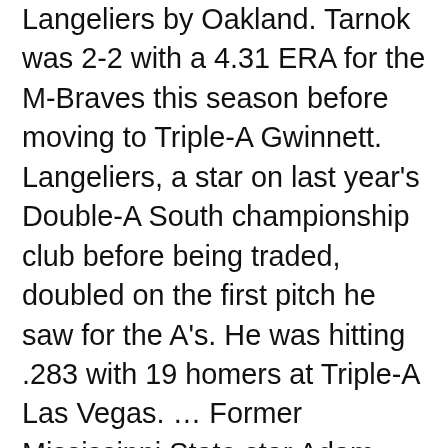Langeliers by Oakland. Tarnok was 2-2 with a 4.31 ERA for the M-Braves this season before moving to Triple-A Gwinnett. Langeliers, a star on last year's Double-A South championship club before being traded, doubled on the first pitch he saw for the A's. He was hitting .283 with 19 homers at Triple-A Las Vegas. … Former Mississippi State star Adam Frazier had two hits, two RBIs and two runs in surging Seattle's 8-2 win against the Los Angeles Angels. Frazier is hitting .318 in his last seven games for the American League wild card leader, which has won 35 of its last 50. … MSU alum Hunter Renfroe, on with a bunt single — yes, a bunt — in the 11th inning, scored the game-winning run for Milwaukee in a 6-5 victory vs. the Los Angeles Dodgers. Fellow former Bulldogs star Brandon Woodruff struck